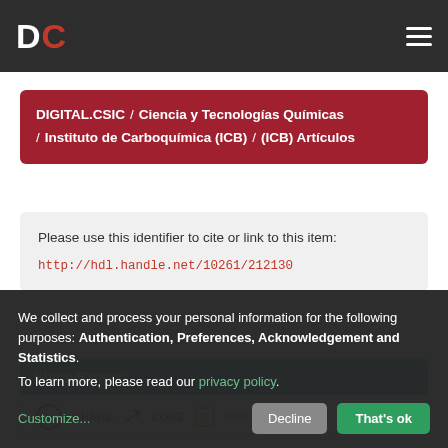DC
DIGITAL.CSIC / Ciencia y Tecnologías Químicas / Instituto de Carboquímica (ICB) / (ICB) Artículos
Please use this identifier to cite or link to this item: http://hdl.handle.net/10261/212130
Share/Export:
We collect and process your personal information for the following purposes: Authentication, Preferences, Acknowledgement and Statistics. To learn more, please read our privacy policy.
Customize...
Decline
That's ok